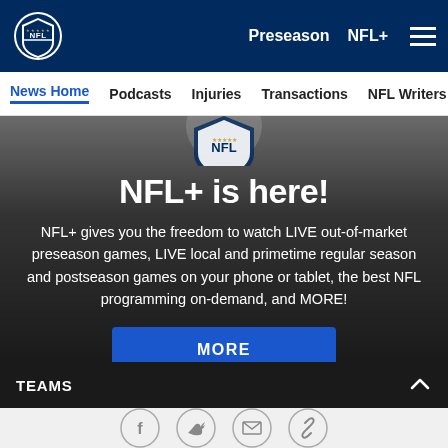NFL navigation bar with logo, Preseason, NFL+ links and hamburger menu
News Home | Podcasts | Injuries | Transactions | NFL Writers | Se...
[Figure (screenshot): NFL+ promotional banner with dark gradient background and partial NFL shield logo at top]
NFL+ is here!
NFL+ gives you the freedom to watch LIVE out-of-market preseason games, LIVE local and primetime regular season and postseason games on your phone or tablet, the best NFL programming on-demand, and MORE!
MORE
TEAMS
[Figure (infographic): Social share icons: Facebook, Twitter, Email, Link]